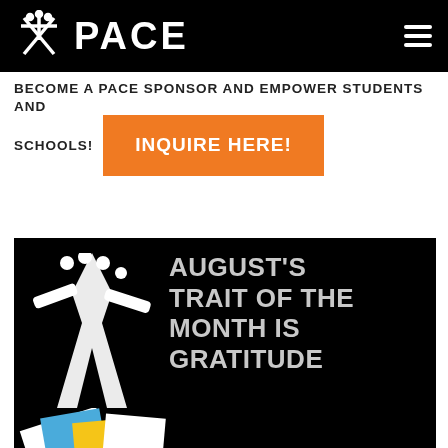PACE
BECOME A PACE SPONSOR AND EMPOWER STUDENTS AND SCHOOLS!
INQUIRE HERE!
[Figure (infographic): Black background panel with PACE logo (white figure icon) on left and text: AUGUST'S TRAIT OF THE MONTH IS GRATITUDE in light grey/white uppercase letters on right. Bottom edge shows partial view of envelope/card graphics.]